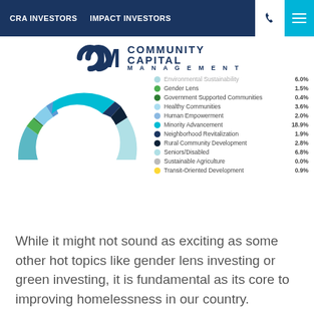CRA INVESTORS   IMPACT INVESTORS
[Figure (logo): Community Capital Management (CCM) logo with stylized C and M letters in navy blue]
[Figure (donut-chart): Impact Investment Categories]
While it might not sound as exciting as some other hot topics like gender lens investing or green investing, it is fundamental as its core to improving homelessness in our country.